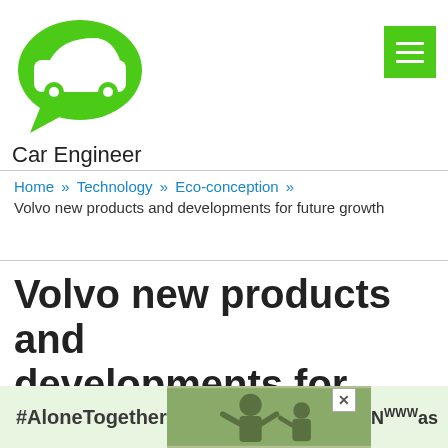[Figure (logo): Car Engineer logo: green speech bubble with white car silhouette inside, with text 'Car Engineer' below]
Home » Technology » Eco-conception » Volvo new products and developments for future growth
Volvo new products and developments for future growth
Leave a Comment / Eco-conception
[Figure (photo): Advertisement banner: #AloneTogether text on light green background with photo of man and child waving]